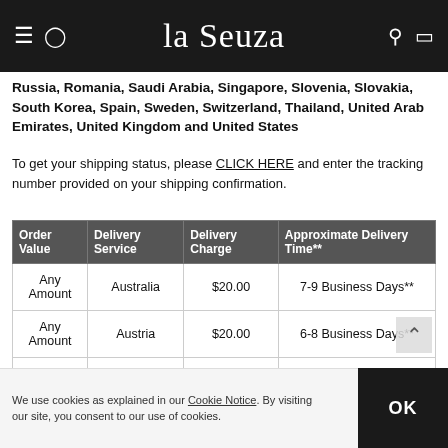La Senza
Russia, Romania, Saudi Arabia, Singapore, Slovenia, Slovakia, South Korea, Spain, Sweden, Switzerland, Thailand, United Arab Emirates, United Kingdom and United States
To get your shipping status, please CLICK HERE and enter the tracking number provided on your shipping confirmation.
| Order Value | Delivery Service | Delivery Charge | Approximate Delivery Time** |
| --- | --- | --- | --- |
| Any Amount | Australia | $20.00 | 7-9 Business Days** |
| Any Amount | Austria | $20.00 | 6-8 Business Days** |
| Any Amount | Bahrain | $15.00 | 7-9 Business Days** |
| Any Amount | Bahrain | $25.00 | 7-9 Business Days** |
We use cookies as explained in our Cookie Notice. By visiting our site, you consent to our use of cookies.